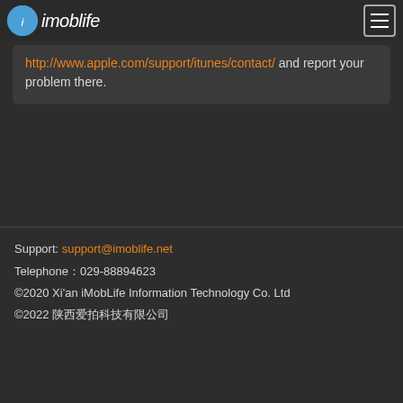imoblife
http://www.apple.com/support/itunes/contact/ and report your problem there.
Support: support@imoblife.net
Telephone：029-88894623
©2020 Xi'an iMobLife Information Technology Co. Ltd
©2022 陕西爱拍科技有限公司